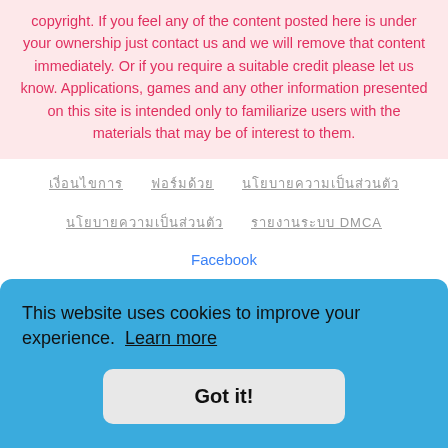copyright. If you feel any of the content posted here is under your ownership just contact us and we will remove that content immediately. Or if you require a suitable credit please let us know. Applications, games and any other information presented on this site is intended only to familiarize users with the materials that may be of interest to them.
[Thai script link 1]
[Thai script link 2]
[Thai script link 3]
[Thai script link 4]
[Thai script link 5] DMCA
Facebook
This website uses cookies to improve your experience. Learn more
Got it!